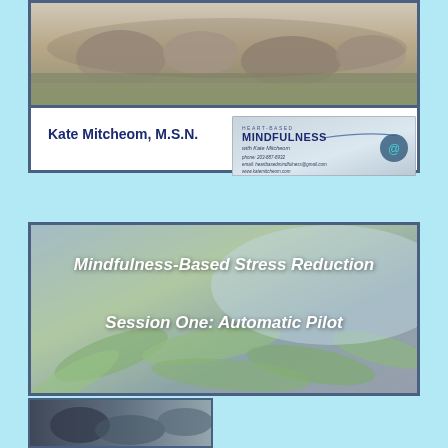[Figure (photo): Top photo showing rocks, grass, and outdoor natural scene - appears to be a garden or outdoor setting]
Kate Mitcheom, M.S.N.
[Figure (logo): Heart-Based Mindfulness with Kate Mitcheom business card with contact info: phone 203-887-8932, email heartbasedmindfulness@gmail.com, website www.katemitcheom.com, with teal heart logo]
[Figure (photo): Background photo of green leaves/plant foliage with text overlay: Mindfulness-Based Stress Reduction / Session One: Automatic Pilot]
Mindfulness-Based Stress Reduction
Session One: Automatic Pilot
[Figure (photo): Partial photo at bottom showing outdoor scene]